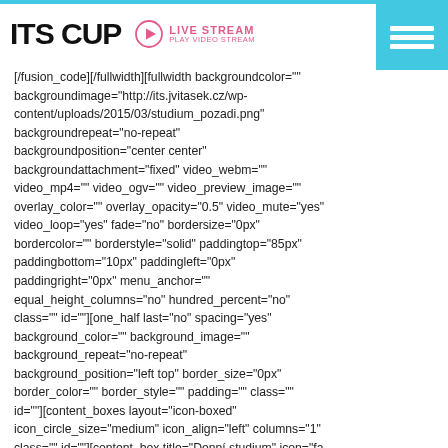ITS CUP | LIVE STREAM PLAY VIDEO STREAM
[/fusion_code][/fullwidth][fullwidth backgroundcolor="" backgroundimage="http://its.jvitasek.cz/wp-content/uploads/2015/03/studium_pozadi.png" backgroundrepeat="no-repeat" backgroundposition="center center" backgroundattachment="fixed" video_webm="" video_mp4="" video_ogv="" video_preview_image="" overlay_color="" overlay_opacity="0.5" video_mute="yes" video_loop="yes" fade="no" bordersize="0px" bordercolor="" borderstyle="solid" paddingtop="85px" paddingbottom="10px" paddingleft="0px" paddingright="0px" menu_anchor="" equal_height_columns="no" hundred_percent="no" class="" id=""][one_half last="no" spacing="yes" background_color="" background_image="" background_repeat="no-repeat" background_position="left top" border_size="0px" border_color="" border_style="" padding="" class="" id=""][content_boxes layout="icon-boxed" icon_circle_size="medium" icon_align="left" columns="1" class="" id=""][content_box title="Denní studium" icon="fa-